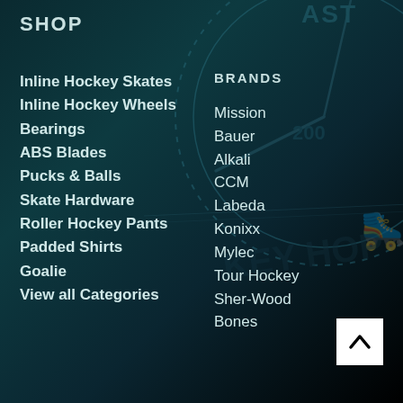SHOP
Inline Hockey Skates
Inline Hockey Wheels
Bearings
ABS Blades
Pucks & Balls
Skate Hardware
Roller Hockey Pants
Padded Shirts
Goalie
View all Categories
BRANDS
Mission
Bauer
Alkali
CCM
Labeda
Konixx
Mylec
Tour Hockey
Sher-Wood
Bones
[Figure (other): Back to top arrow button, white square with upward chevron]